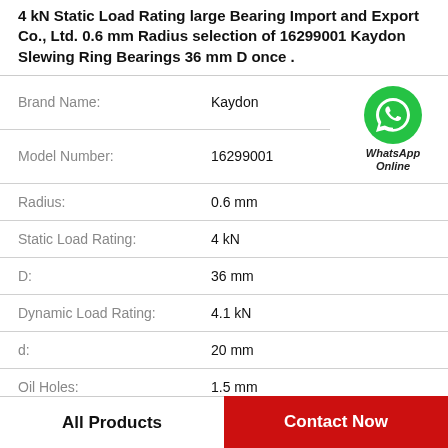4 kN Static Load Rating large Bearing Import and Export Co., Ltd. 0.6 mm Radius selection of 16299001 Kaydon Slewing Ring Bearings 36 mm D once .
| Attribute | Value |
| --- | --- |
| Brand Name: | Kaydon |
| Model Number: | 16299001 |
| Radius: | 0.6 mm |
| Static Load Rating: | 4 kN |
| D: | 36 mm |
| Dynamic Load Rating: | 4.1 kN |
| d: | 20 mm |
| Oil Holes: | 1.5 mm |
[Figure (logo): WhatsApp Online green phone icon with text 'WhatsApp Online']
All Products
Contact Now